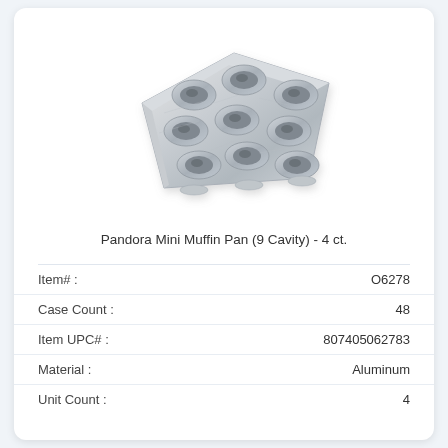[Figure (photo): Aluminum foil mini muffin pan with 9 cavities, shown in a 3x3 grid arrangement, silver/metallic finish, viewed from a slight angle above.]
Pandora Mini Muffin Pan (9 Cavity) - 4 ct.
| Field | Value |
| --- | --- |
| Item# : | O6278 |
| Case Count : | 48 |
| Item UPC# : | 807405062783 |
| Material : | Aluminum |
| Unit Count : | 4 |